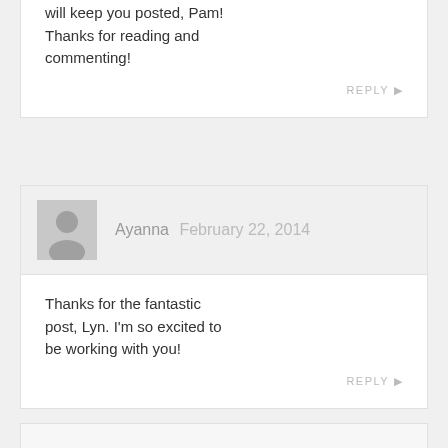will keep you posted, Pam! Thanks for reading and commenting!
REPLY ▶
Ayanna  February 22, 2014
Thanks for the fantastic post, Lyn. I'm so excited to be working with you!
REPLY ▶